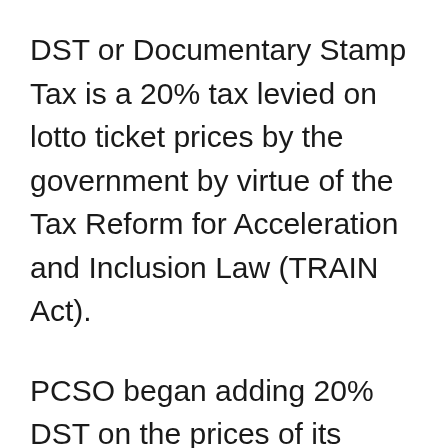DST or Documentary Stamp Tax is a 20% tax levied on lotto ticket prices by the government by virtue of the Tax Reform for Acceleration and Inclusion Law (TRAIN Act).
PCSO began adding 20% DST on the prices of its tickets when the law came into effect in 2018. Accordingly, 2D (EZ2), 3D (Swertres), 4D and 6D Lotto ticket prices went up from PhP 10 to PhP 12, while the 6/42, 6/45...